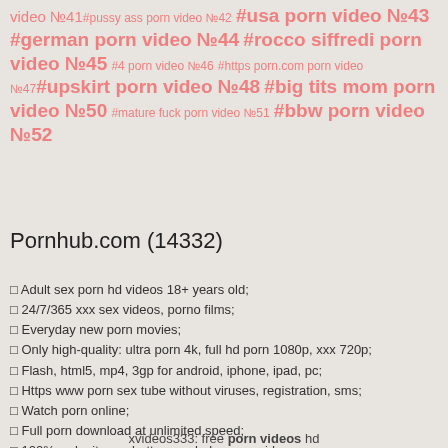video №41#pussy ass porn video №42 #usa porn video №43 #german porn video №44 #rocco siffredi porn video №45 #4 porn video №46 #https porn.com porn video №47 #upskirt porn video №48 #big tits mom porn video №50 #mature fuck porn video №51 #bbw porn video №52
Pornhub.com (14332)
✓ Adult sex porn hd videos 18+ years old;
✓ 24/7/365 xxx sex videos, porno films;
✓ Everyday new porn movies;
✓ Only high-quality: ultra porn 4k, full hd porn 1080p, xxx 720p;
✓ Flash, html5, mp4, 3gp for android, iphone, ipad, pc;
✓ Https www porn sex tube without viruses, registration, sms;
✓ Watch porn online;
✓ Full porn download at unlimited speed;
✓ 100% web site are better pornhub.com, xvideos.com, xnxx.com, xhamster.com, chaturbate.com, youporn.com, redtube.com, bongacams.com;
✓ All best xxx porn vids in hot categories: teen, mom, mature, milf, anal, lesbian, young, furry, sex hd, pov, star, gay, pics, photo, gif, comics, games and other. .
xvideos333: free porn videos hd